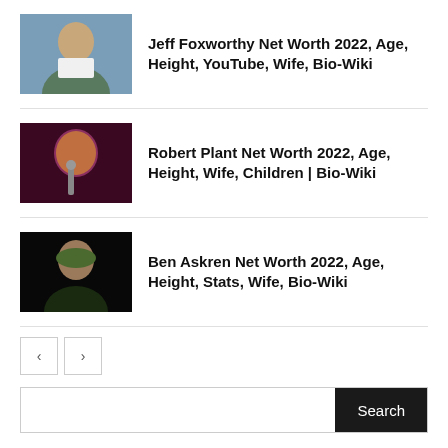Jeff Foxworthy Net Worth 2022, Age, Height, YouTube, Wife, Bio-Wiki
Robert Plant Net Worth 2022, Age, Height, Wife, Children | Bio-Wiki
Ben Askren Net Worth 2022, Age, Height, Stats, Wife, Bio-Wiki